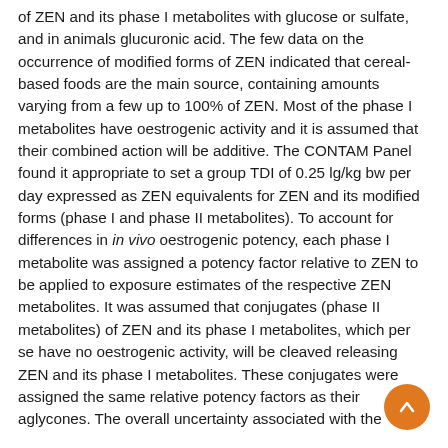of ZEN and its phase I metabolites with glucose or sulfate, and in animals glucuronic acid. The few data on the occurrence of modified forms of ZEN indicated that cereal-based foods are the main source, containing amounts varying from a few up to 100% of ZEN. Most of the phase I metabolites have oestrogenic activity and it is assumed that their combined action will be additive. The CONTAM Panel found it appropriate to set a group TDI of 0.25 lg/kg bw per day expressed as ZEN equivalents for ZEN and its modified forms (phase I and phase II metabolites). To account for differences in in vivo oestrogenic potency, each phase I metabolite was assigned a potency factor relative to ZEN to be applied to exposure estimates of the respective ZEN metabolites. It was assumed that conjugates (phase II metabolites) of ZEN and its phase I metabolites, which per se have no oestrogenic activity, will be cleaved releasing ZEN and its phase I metabolites. These conjugates were assigned the same relative potency factors as their aglycones. The overall uncertainty associated with the